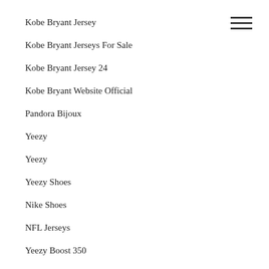Kobe Bryant Jersey
Kobe Bryant Jerseys For Sale
Kobe Bryant Jersey 24
Kobe Bryant Website Official
Pandora Bijoux
Yeezy
Yeezy
Yeezy Shoes
Nike Shoes
NFL Jerseys
Yeezy Boost 350
Yeezy
Yeezy Shoes
Yeezy